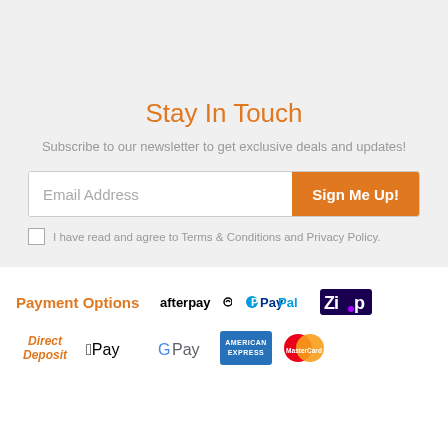Stay In Touch
Subscribe to our newsletter to get exclusive deals and updates!
Email Address | Sign Me Up!
I have read and agree to Terms & Conditions and Privacy Policy.
Payment Options
[Figure (logo): Payment method logos: Afterpay, PayPal, Zip, Direct Deposit, Apple Pay, G Pay, American Express, Mastercard]